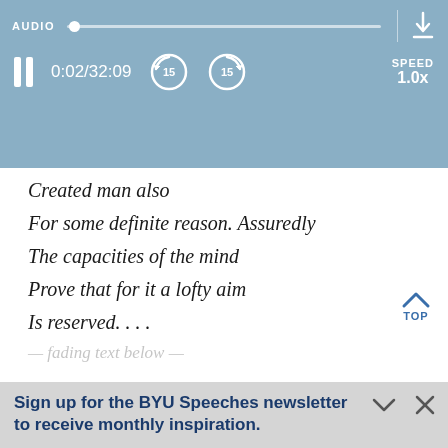[Figure (screenshot): Audio player bar showing AUDIO label, scrubber, pause button, time 0:02/32:09, skip-back and skip-forward 15s buttons, SPEED 1.0x, and download icon]
Created man also
For some definite reason. Assuredly
The capacities of the mind
Prove that for it a lofty aim
Is reserved. . . .
Sign up for the BYU Speeches newsletter to receive monthly inspiration.
A little hope in your inbox.
Enter your email
SUBSCRIBE